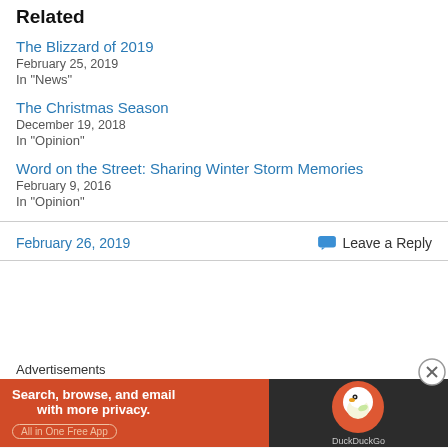Related
The Blizzard of 2019
February 25, 2019
In "News"
The Christmas Season
December 19, 2018
In "Opinion"
Word on the Street: Sharing Winter Storm Memories
February 9, 2016
In "Opinion"
February 26, 2019
Leave a Reply
Advertisements
[Figure (infographic): DuckDuckGo advertisement banner: 'Search, browse, and email with more privacy. All in One Free App' with DuckDuckGo duck logo on dark background]